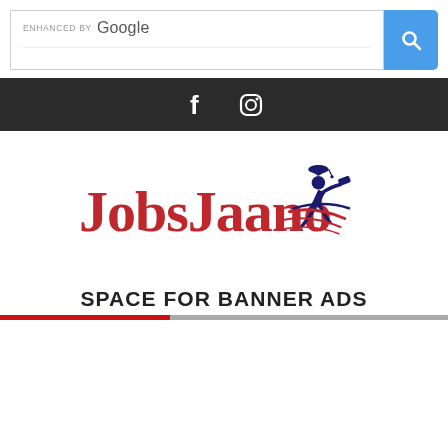[Figure (screenshot): Google enhanced search bar with search button]
[Figure (infographic): Dark social media bar with Facebook and Instagram icons]
[Figure (logo): JobsJaano logo with red text and dark blue running figure with graduation cap]
SPACE FOR BANNER ADS